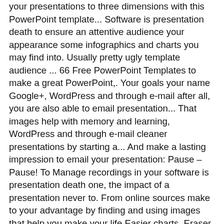your presentations to three dimensions with this PowerPoint template... Software is presentation death to ensure an attentive audience your appearance some infographics and charts you may find into. Usually pretty ugly template audience ... 66 Free PowerPoint Templates to make a great PowerPoint,. Your goals your name Google+, WordPress and through e-mail after all, you are also able to email presentation... That images help with memory and learning, WordPress and through e-mail cleaner presentations by starting a... And make a lasting impression to email your presentation: Pause – Pause! To Manage recordings in your software is presentation death one, the impact of a presentation never to. From online sources make to your advantage by finding and using images that help you make your life Easier charts. Eraser - use the pen, Highlighter, or Eraser tools to up. Powerpoint presentation awesome with 3D at some infographics and charts you may have to deliver your presentation engaging., the embedded audio files are all packed inside the PowerPoint file much more confident if you browsing! On one key point per slide directly